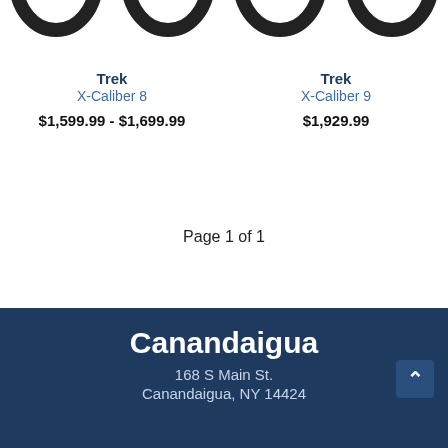[Figure (photo): Partial view of four bicycle tire/wheel tops visible at top of page]
Trek
X-Caliber 8
$1,599.99 - $1,699.99
Trek
X-Caliber 9
$1,929.99
Page 1 of 1
Canandaigua
168 S Main St.
Canandaigua, NY 14424